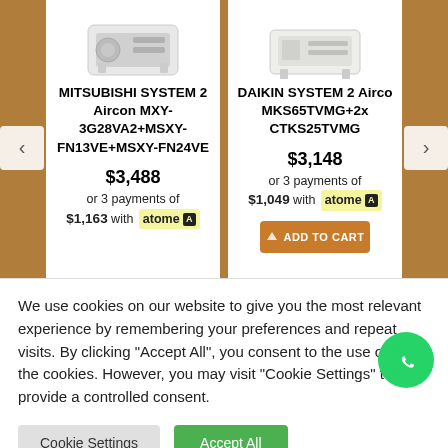[Figure (photo): Mitsubishi aircon outdoor unit image at top of product card]
MITSUBISHI SYSTEM 2 Aircon MXY-3G28VA2+MSXY-FN13VE+MSXY-FN24VE
$3,488
or 3 payments of
$1,163 with atome
[Figure (photo): Daikin aircon outdoor unit image at top of product card]
DAIKIN SYSTEM 2 Airco MKS65TVMG+2x CTKS25TVMG
$3,148
or 3 payments of
$1,049 with atome
We use cookies on our website to give you the most relevant experience by remembering your preferences and repeat visits. By clicking “Accept All”, you consent to the use of ALL the cookies. However, you may visit "Cookie Settings" to provide a controlled consent.